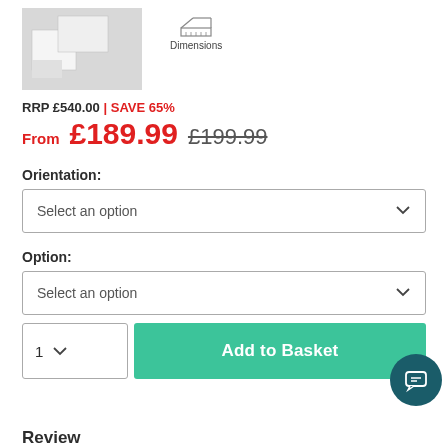[Figure (photo): Product image showing white foam/cushion blocks on grey background]
[Figure (illustration): Dimensions icon (ruler/triangle symbol) with label 'Dimensions']
RRP £540.00 | SAVE 65%
From £189.99 £199.99
Orientation:
Select an option
Option:
Select an option
1
Add to Basket
Reviews